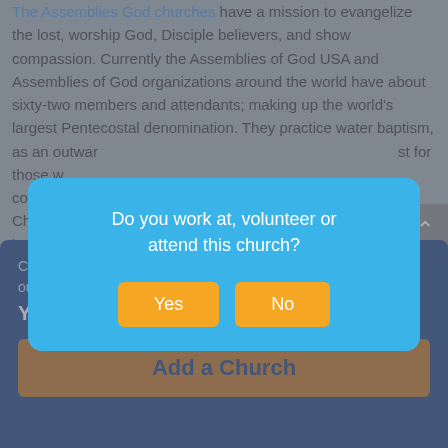The Assemblies God churches have a mission to evangelize the lost, worship God, Disciple believers, and show compassion. Currently the Assemblies of God USA and Assemblies of God organizations around the world have about sixty-two members and attendants; making up the world's largest Pentecostal denomination. They practice water baptism, as an outward [visible] ...st for those w... commu... God Church... ission and bel... tian church.
[Figure (screenshot): Modal dialog box with light blue background asking 'Do you work at, volunteer or attend this church?' with two orange buttons labeled 'Yes' and 'No'.]
Church Angel makes it easy to add your church to our comprehensive directory! YES, I WANT TO
Add a Church